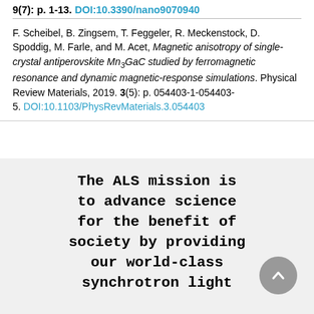9(7): p. 1-13. DOI:10.3390/nano9070940
F. Scheibel, B. Zingsem, T. Feggeler, R. Meckenstock, D. Spoddig, M. Farle, and M. Acet, Magnetic anisotropy of single-crystal antiperovskite Mn3GaC studied by ferromagnetic resonance and dynamic magnetic-response simulations. Physical Review Materials, 2019. 3(5): p. 054403-1-054403-5. DOI:10.1103/PhysRevMaterials.3.054403
The ALS mission is to advance science for the benefit of society by providing our world-class synchrotron light